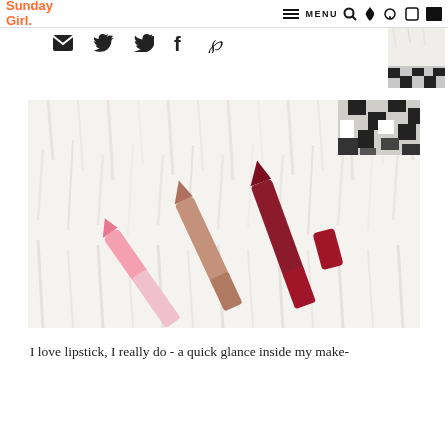Sunday Girl. — MENU
[Figure (screenshot): Social sharing icons: email, twitter, facebook, pinterest]
[Figure (photo): Small thumbnail image of a person/fur background in top right corner]
[Figure (photo): Main photo showing three lip crayons/lipsticks laid on a white fluffy fur surface with a houndstooth fabric partially visible. Lipsticks are pink, nude/beige, and deep red colors.]
I love lipstick, I really do - a quick glance inside my make-